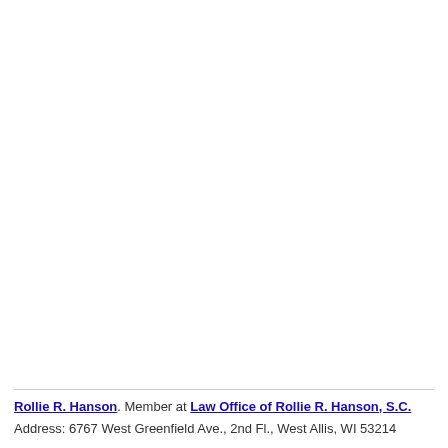Rollie R. Hanson. Member at Law Office of Rollie R. Hanson, S.C.
Address: 6767 West Greenfield Ave., 2nd Fl., West Allis, WI 53214